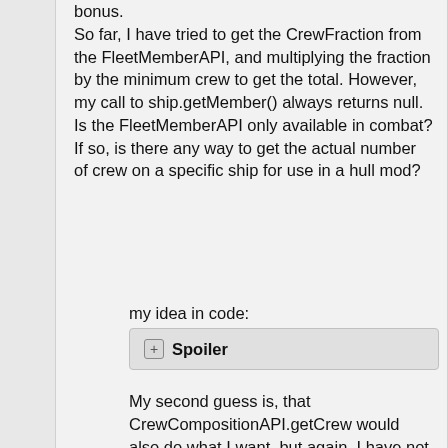bonus. So far, I have tried to get the CrewFraction from the FleetMemberAPI, and multiplying the fraction by the minimum crew to get the total. However, my call to ship.getMember() always returns null. Is the FleetMemberAPI only available in combat? If so, is there any way to get the actual number of crew on a specific ship for use in a hull mod?
my idea in code:
+ Spoiler
My second guess is, that CrewCompositionAPI.getCrew would also do what I want, but again, I have not found a way to access it.